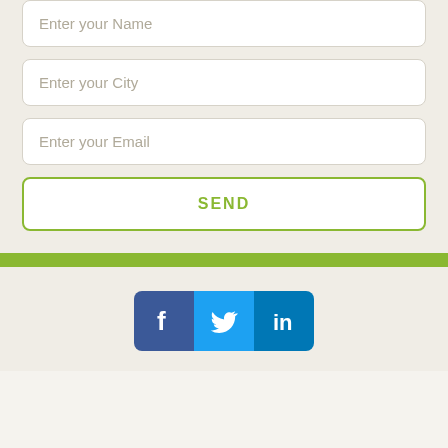Enter your Name
Enter your City
Enter your Email
SEND
[Figure (logo): Social media icons: Facebook (blue), Twitter (light blue), LinkedIn (dark blue)]